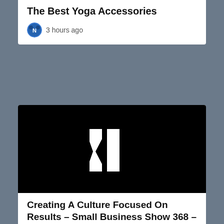The Best Yoga Accessories
3 hours ago
[Figure (logo): White geometric M/arrow logo on black background]
Creating A Culture Focused On Results – Small Business Show 368 – Business Brain
5 hours ago